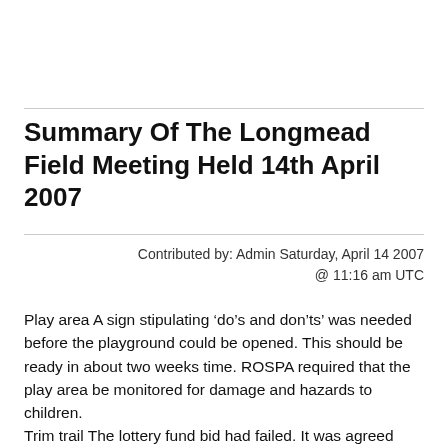Summary Of The Longmead Field Meeting Held 14th April 2007
Contributed by: Admin Saturday, April 14 2007 @ 11:16 am UTC
Play area A sign stipulating ‘do’s and don’ts’ was needed before the playground could be opened. This should be ready in about two weeks time. ROSPA required that the play area be monitored for damage and hazards to children. Trim trail The lottery fund bid had failed. It was agreed that, given the number of failed bids for the trim trail, the best way forward now was to do-it-ourselves with community involvement. Two promises of